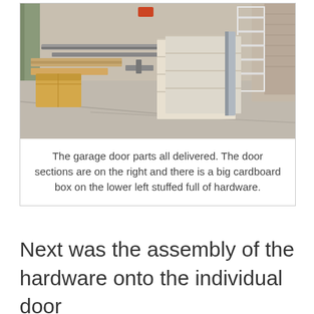[Figure (photo): Garage door parts laid out on a driveway/garage floor. On the left side are long wooden boards and a cardboard box with hardware. On the right side are door sections (panels) leaning against something. Metal rails and components visible in the center/background. A shipping container is visible on the far left, and a brick wall on the far right.]
The garage door parts all delivered. The door sections are on the right and there is a big cardboard box on the lower left stuffed full of hardware.
Next was the assembly of the hardware onto the individual door